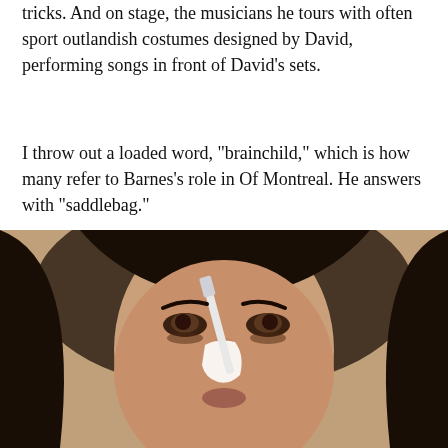tricks. And on stage, the musicians he tours with often sport outlandish costumes designed by David, performing songs in front of David's sets.
I throw out a loaded word, "brainchild," which is how many refer to Barnes's role in Of Montreal. He answers with "saddlebag."
[Figure (logo): Christian Science Monitor logo - dark circle with white C shape and green square accent]
[Figure (photo): Close-up photo of a young woman with dark hair applying something white (cream or paste) to her nose with a brush or applicator]